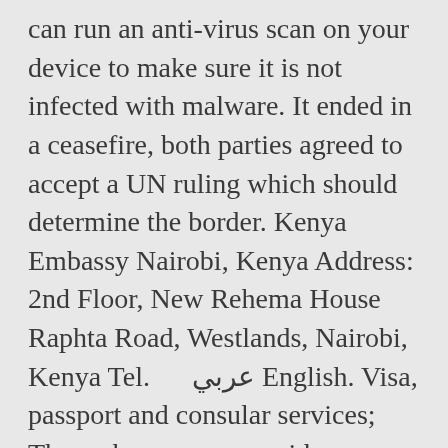can run an anti-virus scan on your device to make sure it is not infected with malware. It ended in a ceasefire, both parties agreed to accept a UN ruling which should determine the border. Kenya Embassy Nairobi, Kenya Address: 2nd Floor, New Rehema House Raphta Road, Westlands, Nairobi, Kenya Tel.      عربي English. Visa, passport and consular services; The embassy may provide a range of consular services such as visa and passport processing as well as document legalization. It is possible to renew Ethiopian passport at least 6 months before the expire date of the passport. Location: Asmara, Eritrea Message: The Embassy has updated information that stay at home orders were not issued by Eritrean